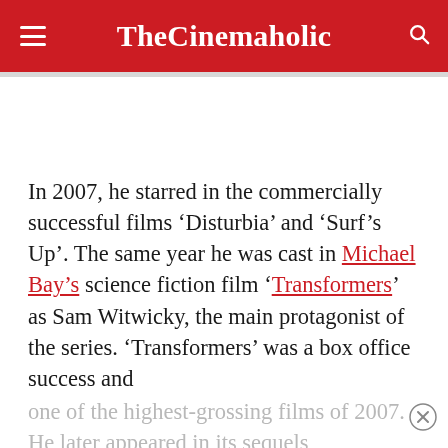TheCinemaholic
In 2007, he starred in the commercially successful films ‘Disturbia’ and ‘Surf’s Up’. The same year he was cast in Michael Bay’s science fiction film ‘Transformers’ as Sam Witwicky, the main protagonist of the series. ‘Transformers’ was a box office success and one of the highest-grossing films of 2007. He later appeared in its sequels ‘Transformers: Revenge of the Fallen’ in 2009 and ‘Transformers: Dark of the Moon’ in...